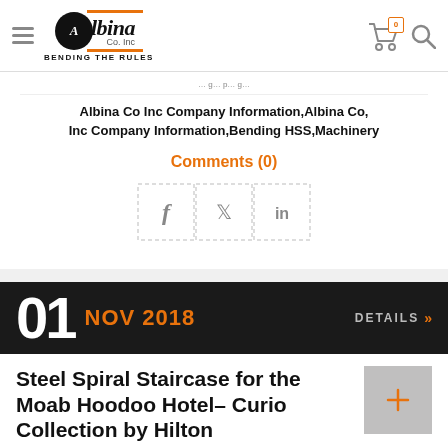Albina Co. Inc — BENDING THE RULES
Albina Co Inc Company Information, Albina Co, Inc Company Information, Bending HSS, Machinery
Comments (0)
[Figure (other): Social share buttons: Facebook (f), Twitter (bird), LinkedIn (in)]
01 NOV 2018  DETAILS
Steel Spiral Staircase for the Moab Hoodoo Hotel- Curio Collection by Hilton